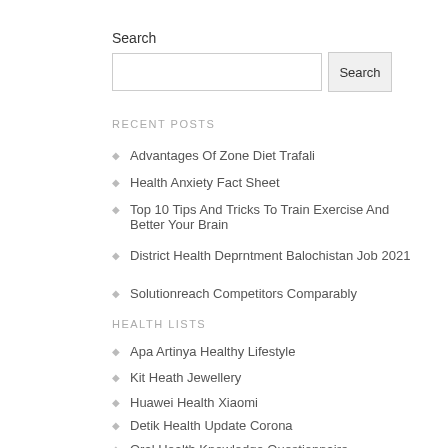Search
RECENT POSTS
Advantages Of Zone Diet Trafali
Health Anxiety Fact Sheet
Top 10 Tips And Tricks To Train Exercise And Better Your Brain
District Health Deprntment Balochistan Job 2021
Solutionreach Competitors Comparably
HEALTH LISTS
Apa Artinya Healthy Lifestyle
Kit Heath Jewellery
Huawei Health Xiaomi
Detik Health Update Corona
Oral Health Knowledge Questionnaire